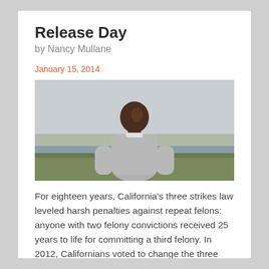Release Day
by Nancy Mullane
January 15, 2014
[Figure (photo): A Black man wearing a light grey sweatshirt stands outdoors against an overcast sky, with green grass and a body of water visible in the background. He appears to be looking upward slightly.]
For eighteen years, California’s three strikes law leveled harsh penalties against repeat felons: anyone with two felony convictions received 25 years to life for committing a third felony. In 2012, Californians voted to change the three strikes law, allowing some of the prisoners sentenced under it